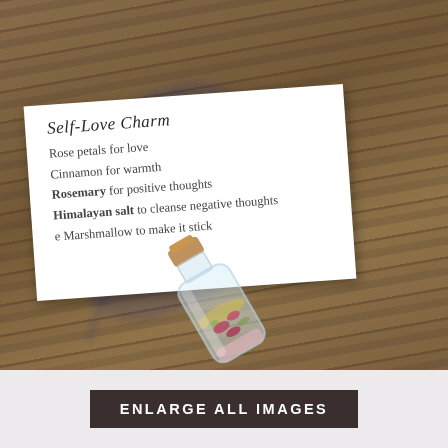[Figure (photo): A small glass vial with a cork stopper filled with dried herbs, rose petals, and pink salt lying on a wooden surface next to a white card reading 'Self-Love Charm' with ingredients listed: Rose petals for love, Cinnamon for warmth, Rosemary for positive thoughts, Himalayan salt to cleanse negative thoughts, Marshmallow to make it stick. A shadow of a rose silhouette falls across the card.]
ENLARGE ALL IMAGES